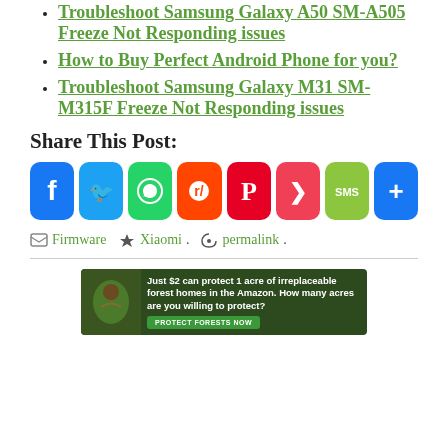Troubleshoot Samsung Galaxy A50 SM-A505 Freeze Not Responding issues
How to Buy Perfect Android Phone for you?
Troubleshoot Samsung Galaxy M31 SM-M315F Freeze Not Responding issues
Share This Post:
[Figure (infographic): Social media share buttons: Facebook, Twitter, WhatsApp, Reddit, Pinterest, Pocket, SMS, Share]
Firmware  Xiaomi.  permalink.
[Figure (infographic): Advertisement banner: Just $2 can protect 1 acre of irreplaceable forest homes in the Amazon. How many acres are you willing to protect? PROTECT FORESTS NOW]